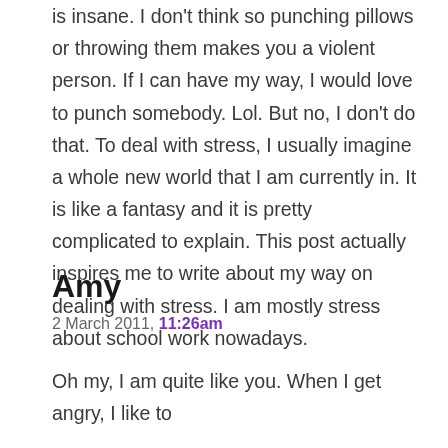is insane. I don't think so punching pillows or throwing them makes you a violent person. If I can have my way, I would love to punch somebody. Lol. But no, I don't do that. To deal with stress, I usually imagine a whole new world that I am currently in. It is like a fantasy and it is pretty complicated to explain. This post actually inspires me to write about my way on dealing with stress. I am mostly stress about school work nowadays.
Amy
2 March 2011, 11:26am
Oh my, I am quite like you. When I get angry, I like to